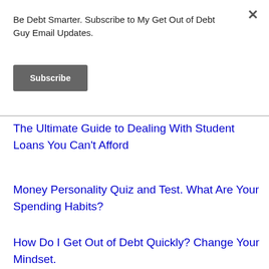Be Debt Smarter. Subscribe to My Get Out of Debt Guy Email Updates.
Subscribe
The Ultimate Guide to Dealing With Student Loans You Can't Afford
Money Personality Quiz and Test. What Are Your Spending Habits?
How Do I Get Out of Debt Quickly? Change Your Mindset.